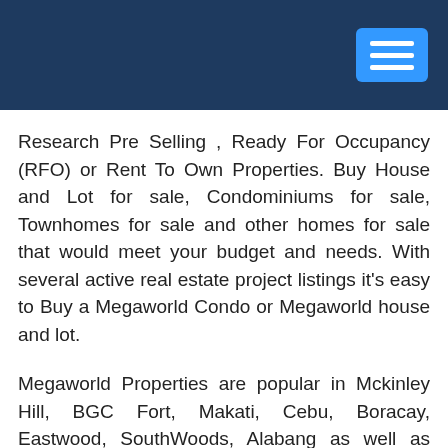Research Pre Selling , Ready For Occupancy (RFO) or Rent To Own Properties. Buy House and Lot for sale, Condominiums for sale, Townhomes for sale and other homes for sale that would meet your budget and needs. With several active real estate project listings it's easy to Buy a Megaworld Condo or Megaworld house and lot.
Megaworld Properties are popular in Mckinley Hill, BGC Fort, Makati, Cebu, Boracay, Eastwood, SouthWoods, Alabang as well as Tagaytay.
Exploring Philippines property for sale? We have the most comprehensive real estate listings. We have real estate properties for sale throughout the Philippines, giving you the Philippines's largest selection of condos and house and lot to buy. Choose from thousands of houses for sale and apartments